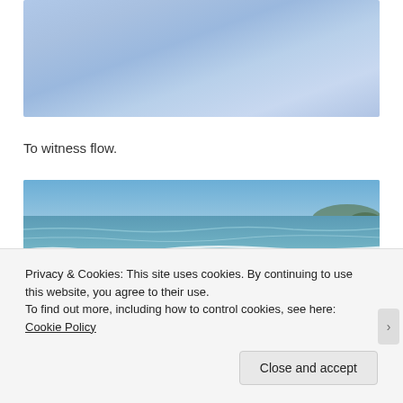[Figure (photo): Photo of a blue sky with light clouds]
To witness flow.
[Figure (photo): Photo of a beach with blue-green water and sandy shore]
Privacy & Cookies: This site uses cookies. By continuing to use this website, you agree to their use.
To find out more, including how to control cookies, see here: Cookie Policy
Close and accept